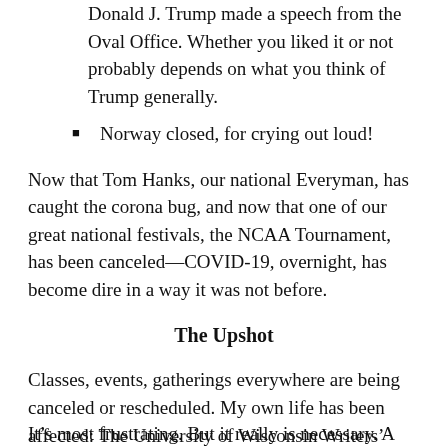Donald J. Trump made a speech from the Oval Office. Whether you liked it or not probably depends on what you think of Trump generally.
Norway closed, for crying out loud!
Now that Tom Hanks, our national Everyman, has caught the corona bug, and now that one of our great national festivals, the NCAA Tournament, has been canceled—COVID-19, overnight, has become dire in a way it was not before.
The Upshot
Classes, events, gatherings everywhere are being canceled or rescheduled. My own life has been affected: The University of Wisconsin Writers’ Institute, an event many of us look forward to all year long, is suddenly off the books. We await, with bated breath, the new dates.
It’s most frustrating. But it really is necessary. A